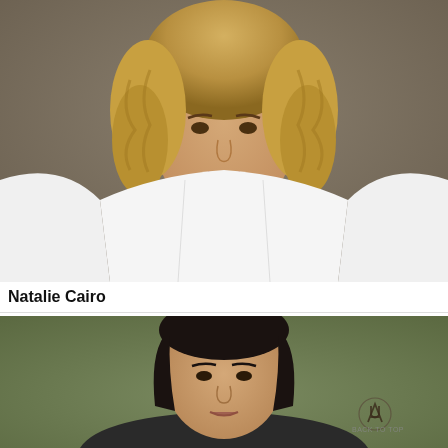[Figure (photo): Professional headshot of Natalie Cairo, a woman with curly blonde hair wearing a white lab coat over a dark floral top, photographed against a neutral background.]
Natalie Cairo
[Figure (photo): Professional headshot of a woman with straight dark brown hair, wearing dark clothing, photographed against a blurred outdoor background. Auburn University logo and 'BACK TO TOP' text visible in lower right corner.]